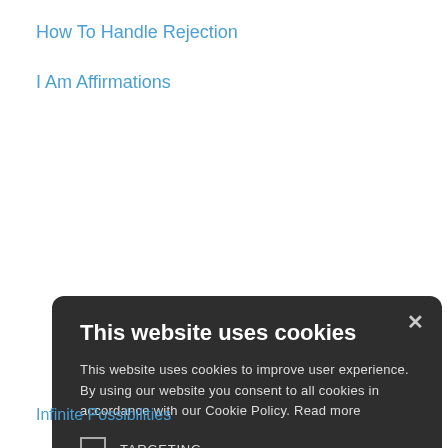How To Handle Rejection
I Am Affirmations
[Figure (screenshot): Cookie consent modal dialog with dark background. Contains title 'This website uses cookies', body text explaining cookie policy, two checkboxes labeled TARGETING and UNCLASSIFIED, ACCEPT ALL (green) and DECLINE ALL (outline) buttons, SHOW DETAILS link, and POWERED BY COOKIE-SCRIPT footer.]
Infinite Possibilities